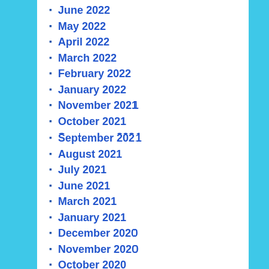June 2022
May 2022
April 2022
March 2022
February 2022
January 2022
November 2021
October 2021
September 2021
August 2021
July 2021
June 2021
March 2021
January 2021
December 2020
November 2020
October 2020
September 2020
August 2020
July 2020
June 2020